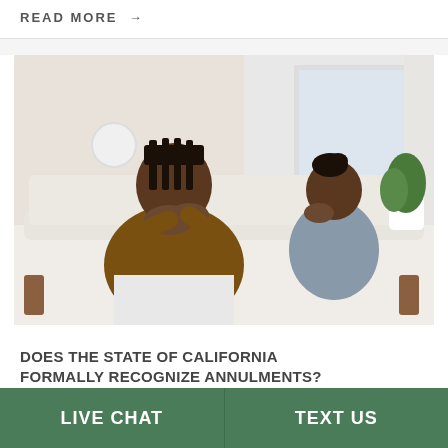READ MORE →
[Figure (photo): A couple sitting apart on a couch, both looking distressed. A man in a brown sweater sits in the foreground with his hands covering his mouth, and a woman in a grey top sits in the background near a window.]
DOES THE STATE OF CALIFORNIA FORMALLY RECOGNIZE ANNULMENTS?
LIVE CHAT
TEXT US